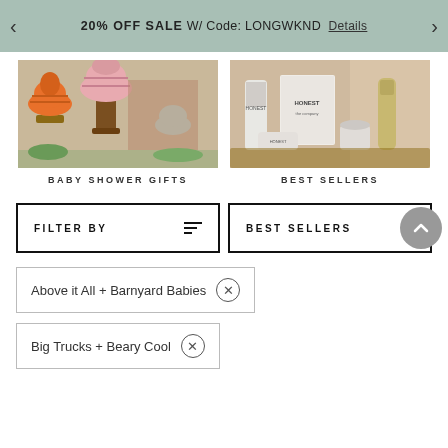20% OFF SALE W/ Code: LONGWKND  Details
[Figure (photo): Baby shower gift items - colorful knitted hats/beanies arranged on wooden pedestals]
BABY SHOWER GIFTS
[Figure (photo): Best sellers - Honest brand skincare/beauty products arranged on a surface]
BEST SELLERS
FILTER BY
BEST SELLERS
Above it All + Barnyard Babies ⊗
Big Trucks + Beary Cool ⊗